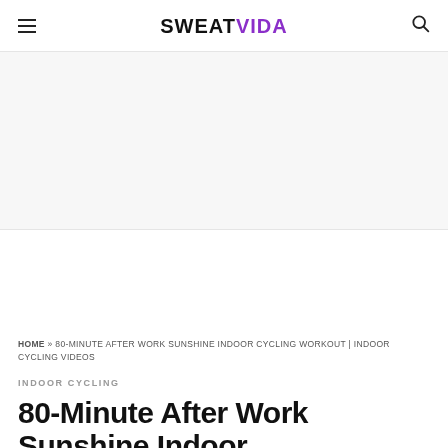SWEATVIDA
[Figure (other): Advertisement banner area, blank white/light gray rectangle]
HOME » 80-MINUTE AFTER WORK SUNSHINE INDOOR CYCLING WORKOUT | INDOOR CYCLING VIDEOS
INDOOR CYCLING
80-Minute After Work Sunshine Indoor